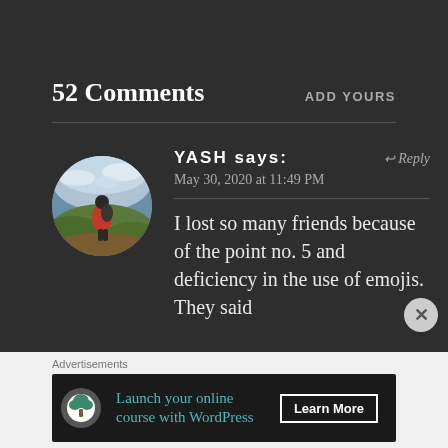52 Comments
ADD YOURS
YASH says:
May 30, 2020 at 11:49 PM
Reply
I lost so many friends because of the point no. 5 and deficiency in the use of emojis. They said
Advertisements
[Figure (other): Advertisement banner: Launch your online course with WordPress. Learn More button.]